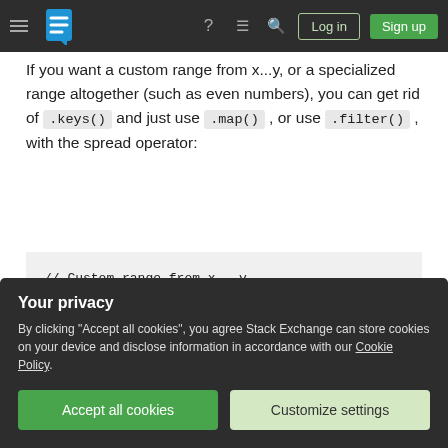Stack Exchange navigation bar with logo, icons, Log in and Sign up buttons
If you want a custom range from x...y, or a specialized range altogether (such as even numbers), you can get rid of .keys() and just use .map() , or use .filter() , with the spread operator:
[Figure (screenshot): Code block showing: // Custom range from x...y
(x,y)=>[...Array(y-x)].map(a=>x++)

// Even numbers (using map)
x=>[...Array(x/2)].map((a,i)=>i*2)]
Your privacy
By clicking "Accept all cookies", you agree Stack Exchange can store cookies on your device and disclose information in accordance with our Cookie Policy.
Accept all cookies   Customize settings